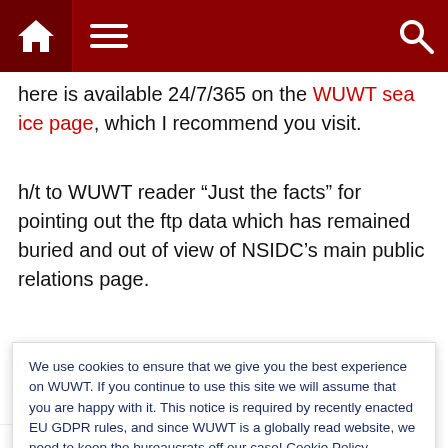Navigation bar with home, menu, and search icons
here is available 24/7/365 on the WUWT sea ice page, which I recommend you visit.
h/t to WUWT reader "Just the facts" for pointing out the ftp data which has remained buried and out of view of NSIDC's main public relations page.
[Figure (other): Vote/comment widget showing a dashed circle containing the number 0, with dash symbols on either side]
We use cookies to ensure that we give you the best experience on WUWT. If you continue to use this site we will assume that you are happy with it. This notice is required by recently enacted EU GDPR rules, and since WUWT is a globally read website, we need to keep the bureaucrats off our case! Cookie Policy
Telegram